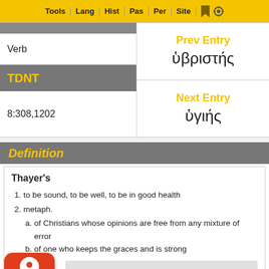Tools | Lang | Hist | Pas | Per | Site
Verb
TDNT
8:308,1202
Prev Entry
ὑβριστής
Next Entry
ὑγιής
Definition
Thayer's
1. to be sound, to be well, to be in good health
2. metaph.
a. of Christians whose opinions are free from any mixture of error
b. of one who keeps the graces and is strong